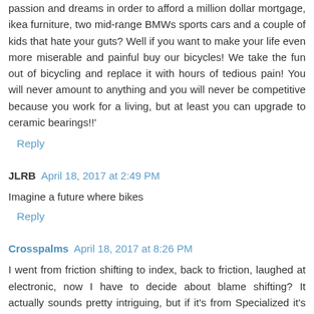passion and dreams in order to afford a million dollar mortgage, ikea furniture, two mid-range BMWs sports cars and a couple of kids that hate your guts? Well if you want to make your life even more miserable and painful buy our bicycles! We take the fun out of bicycling and replace it with hours of tedious pain! You will never amount to anything and you will never be competitive because you work for a living, but at least you can upgrade to ceramic bearings!!'
Reply
JLRB April 18, 2017 at 2:49 PM
Imagine a future where bikes
Reply
Crosspalms April 18, 2017 at 8:26 PM
I went from friction shifting to index, back to friction, laughed at electronic, now I have to decide about blame shifting? It actually sounds pretty intriguing, but if it's from Specialized it's probably too rich for me.